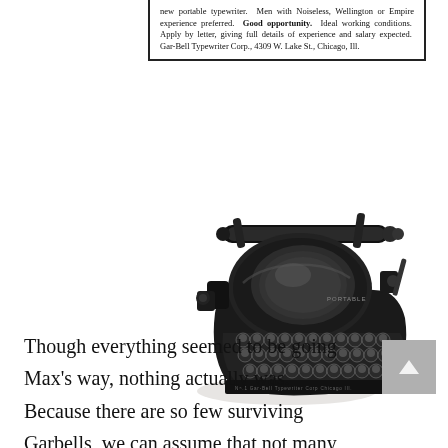new portable typewriter. Men with Noiseless, Wellington or Empire experience preferred. Good opportunity. Ideal working conditions. Apply by letter, giving full details of experience and salary expected. Gar-Bell Typewriter Corp., 4309 W. Lake St., Chicago, Ill.
[Figure (photo): Black vintage Gar-Bell portable typewriter with round keyboard keys, viewed from a three-quarter angle, showing the paper rest, platen, and keyboard with gold-toned round keys.]
Though everything seemed to be going Max's way, nothing actually was. Because there are so few surviving Garbells, we can assume that not many were sold. By 1923 the company had